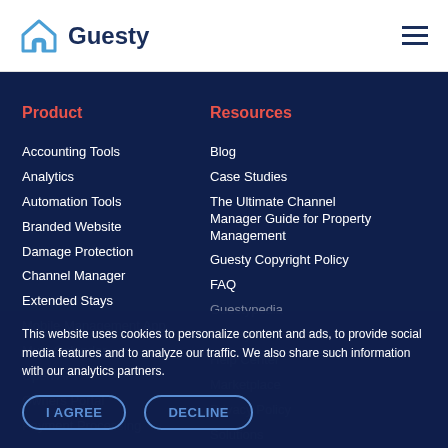Guesty
Product
Accounting Tools
Analytics
Automation Tools
Branded Website
Damage Protection
Channel Manager
Extended Stays
Mobile Management App
Multi-Calendar
Open API
Owners Portal
Payment Processing
Resources
Blog
Case Studies
The Ultimate Channel Manager Guide for Property Management
Guesty Copyright Policy
FAQ
Guestypedia
GuestyWIKI
Help Center
Marketplace
Privacy Policy
Solutions
This website uses cookies to personalize content and ads, to provide social media features and to analyze our traffic. We also share such information with our analytics partners.